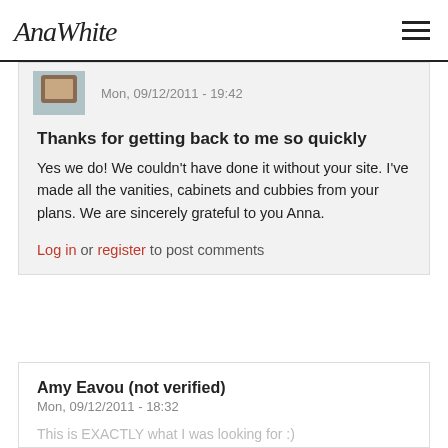AnaWhite
Mon, 09/12/2011 - 19:42
Thanks for getting back to me so quickly
Yes we do! We couldn't have done it without your site. I've made all the vanities, cabinets and cubbies from your plans. We are sincerely grateful to you Anna.
Log in or register to post comments
Amy Eavou (not verified)
Mon, 09/12/2011 - 18:32
This is EXACTLY what I was looking for :)
This is exactly what I was dreaming up for my